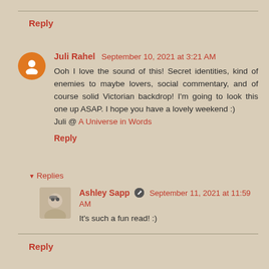Reply
Juli Rahel September 10, 2021 at 3:21 AM
Ooh I love the sound of this! Secret identities, kind of enemies to maybe lovers, social commentary, and of course solid Victorian backdrop! I'm going to look this one up ASAP. I hope you have a lovely weekend :)
Juli @ A Universe in Words
Reply
▾ Replies
Ashley Sapp ✏ September 11, 2021 at 11:59 AM
It's such a fun read! :)
Reply